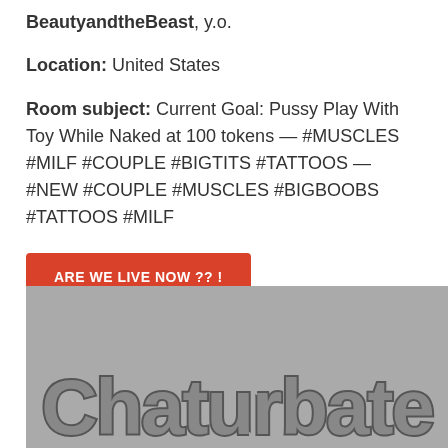BeautyandtheBeast, y.o.
Location: United States
Room subject: Current Goal: Pussy Play With Toy While Naked at 100 tokens — #MUSCLES #MILF #COUPLE #BIGTITS #TATTOOS — #NEW #COUPLE #MUSCLES #BIGBOOBS #TATTOOS #MILF
ARE WE LIVE NOW ?? !
[Figure (logo): Chaturbate watermark logo on grey background]